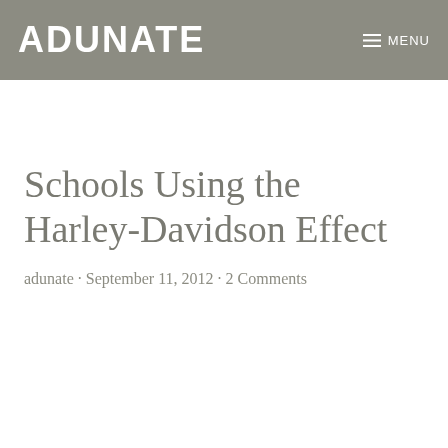ADUNATE  MENU
Schools Using the Harley-Davidson Effect
adunate · September 11, 2012 · 2 Comments